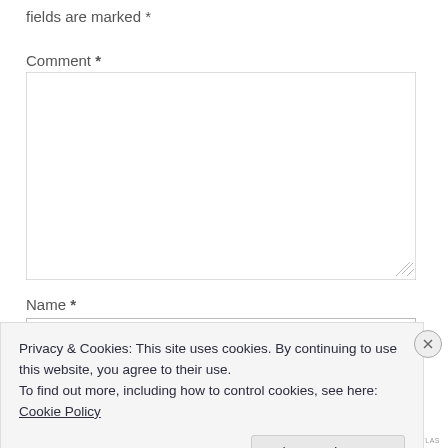fields are marked *
Comment *
[Figure (screenshot): Empty comment textarea input field with resize handle]
Name *
Privacy & Cookies: This site uses cookies. By continuing to use this website, you agree to their use.
To find out more, including how to control cookies, see here:
Cookie Policy
Close and accept